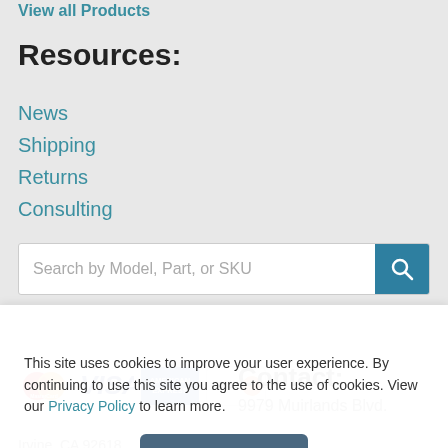View all Products
Resources:
News
Shipping
Returns
Consulting
Search by Model, Part, or SKU
[Figure (other): Payment method icons: MasterCard, VISA, American Express, Discover]
Contact:
9979 Muirlands Blvd.
Irvine, CA 92618
This site uses cookies to improve your user experience. By continuing to use this site you agree to the use of cookies. View our Privacy Policy to learn more.
Accept